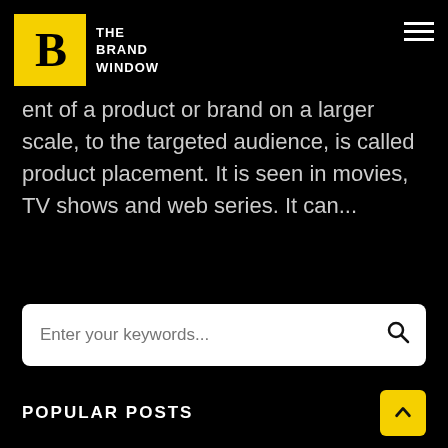The Brand Window
ent of a product or brand on a larger scale, to the targeted audience, is called product placement. It is seen in movies, TV shows and web series. It can...
[Figure (illustration): Heart/like icon outline]
Enter your keywords...
POPULAR POSTS